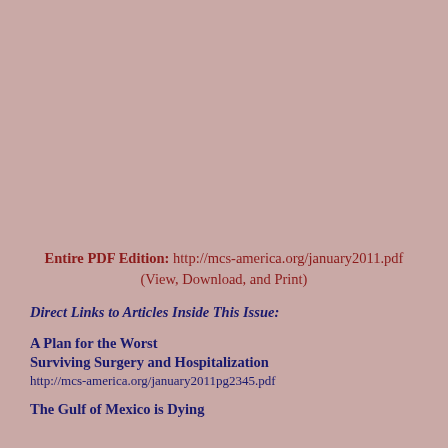Entire PDF Edition: http://mcs-america.org/january2011.pdf (View, Download, and Print)
Direct Links to Articles Inside This Issue:
A Plan for the Worst
Surviving Surgery and Hospitalization
http://mcs-america.org/january2011pg2345.pdf
The Gulf of Mexico is Dying